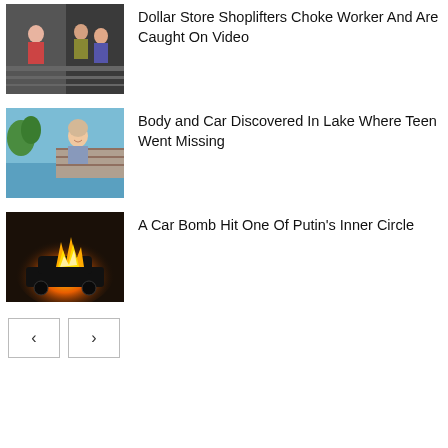[Figure (photo): Security camera or store footage showing people in a dollar store]
Dollar Store Shoplifters Choke Worker And Are Caught On Video
[Figure (photo): Photo of a smiling teenage girl outdoors near water]
Body and Car Discovered In Lake Where Teen Went Missing
[Figure (photo): Photo of a car on fire at night]
A Car Bomb Hit One Of Putin’s Inner Circle